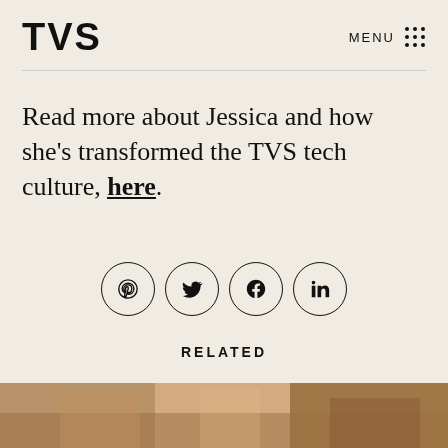TVS | MENU
Read more about Jessica and how she's transformed the TVS tech culture, here.
[Figure (infographic): Row of four social media icon circles: Pinterest, Twitter, Facebook, LinkedIn]
RELATED
[Figure (photo): Partial photo strip visible at the bottom of the page]